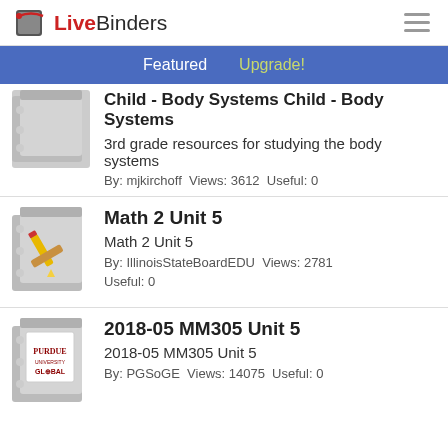LiveBinders
Featured  Upgrade!
Child - Body Systems
3rd grade resources for studying the body systems
By: mjkirchoff  Views: 3612  Useful: 0
Math 2 Unit 5
Math 2 Unit 5
By: IllinoisStateBoardEDU  Views: 2781  Useful: 0
2018-05 MM305 Unit 5
2018-05 MM305 Unit 5
By: PGSoGE  Views: 14075  Useful: 0